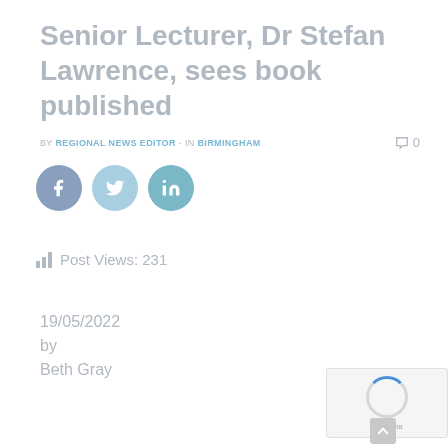Senior Lecturer, Dr Stefan Lawrence, sees book published
BY REGIONAL NEWS EDITOR - IN BIRMINGHAM
[Figure (other): Social media share buttons: Facebook, Twitter, LinkedIn]
Post Views: 231
19/05/2022
by
Beth Gray